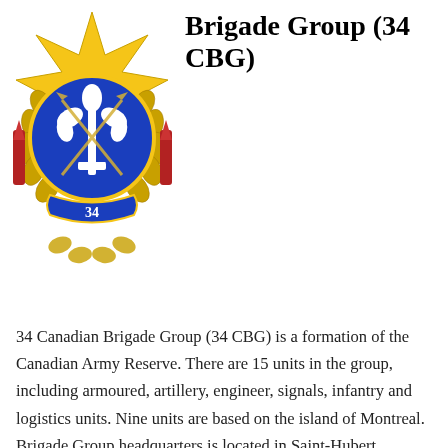[Figure (logo): Military badge/crest of 34 Canadian Brigade Group featuring a fleur-de-lis on blue circle, crossed swords, gold star/laurel wreath surround, with '34' at the bottom and red accents]
34 Canadian Brigade Group (34 CBG)
34 Canadian Brigade Group (34 CBG) is a formation of the Canadian Army Reserve. There are 15 units in the group, including armoured, artillery, engineer, signals, infantry and logistics units. Nine units are based on the island of Montreal. Brigade Group headquarters is located in Saint-Hubert, Quebec. In total, 34 CBG includes about 2,500 members of the A...